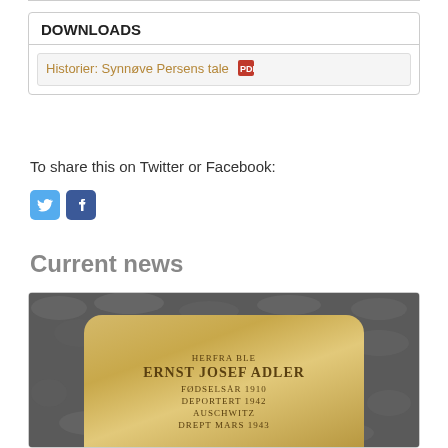DOWNLOADS
Historier: Synnøve Persens tale [PDF]
To share this on Twitter or Facebook:
[Figure (other): Twitter and Facebook social share icon buttons]
Current news
[Figure (photo): Photo of a Stolperstein (stumbling stone) memorial plaque embedded in pavement, reading: HERFRA BLE ERNST JOSEF ADLER FØDSELSÅR 1910 DEPORTERT 1942 AUSCHWITZ DREPT MARS 1943]